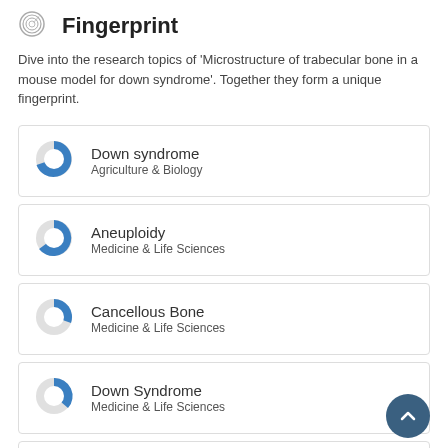Fingerprint
Dive into the research topics of 'Microstructure of trabecular bone in a mouse model for down syndrome'. Together they form a unique fingerprint.
Down syndrome
Agriculture & Biology
Aneuploidy
Medicine & Life Sciences
Cancellous Bone
Medicine & Life Sciences
Down Syndrome
Medicine & Life Sciences
Animal models
Agriculture & Biology